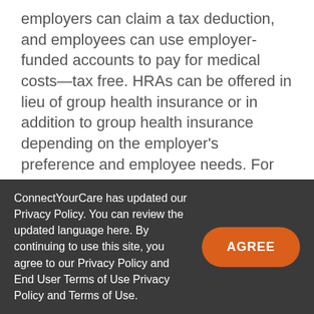employers can claim a tax deduction, and employees can use employer-funded accounts to pay for medical costs—tax free. HRAs can be offered in lieu of group health insurance or in addition to group health insurance depending on the employer's preference and employee needs. For example, a small employer might offer an HRA in place of group insurance, while an enterprise-size employer might offer an HRA as an employee perk that can offset medical expenses and also
ConnectYourCare has updated our Privacy Policy. You can review the updated language here. By continuing to use this site, you agree to our Privacy Policy and End User Terms of Use Privacy Policy and Terms of Use.